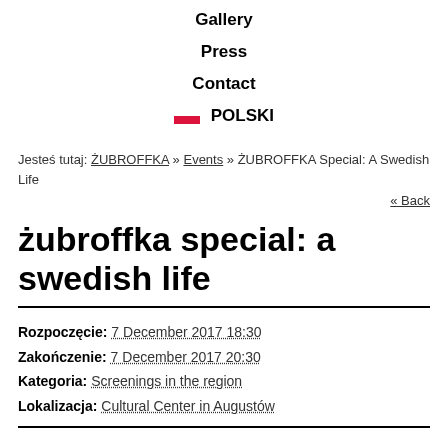Gallery
Press
Contact
POLSKI
Jesteś tutaj: ŻUBROFFKA » Events » ŻUBROFFKA Special: A Swedish Life
« Back
żubroffka special: a swedish life
Rozpoczęcie: 7 December 2017 18:30
Zakończenie: 7 December 2017 20:30
Kategoria: Screenings in the region
Lokalizacja: Cultural Center in Augustów